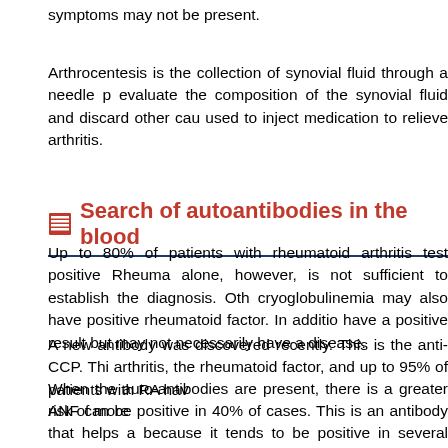symptoms may not be present.
Arthrocentesis is the collection of synovial fluid through a needle p evaluate the composition of the synovial fluid and discard other ca used to inject medication to relieve arthritis.
Search of autoantibodies in the blood
Up to 80% of patients with rheumatoid arthritis test positive Rheuma alone, however, is not sufficient to establish the diagnosis. Oth cryoglobulinemia may also have positive rheumatoid factor. In additio have a positive result but may not necessarily have a disease.
A new antibody was discovered recently. This is the anti-CCP. Thi arthritis, the rheumatoid factor, and up to 95% of patients with RA hav
When the auto-antibodies are present, there is a greater risk of more
ANF can be positive in 40% of cases. This is an antibody that helps a because it tends to be positive in several other diseases that go wit diagnosis. However, it serves to suggest the presence of an autoim